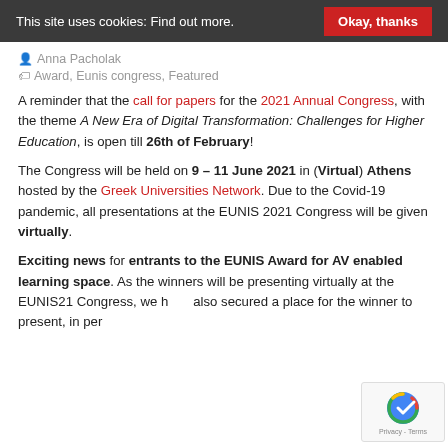This site uses cookies: Find out more. [Okay, thanks]
Anna Pacholak
Award, Eunis congress, Featured
A reminder that the call for papers for the 2021 Annual Congress, with the theme A New Era of Digital Transformation: Challenges for Higher Education, is open till 26th of February!
The Congress will be held on 9 – 11 June 2021 in (Virtual) Athens hosted by the Greek Universities Network. Due to the Covid-19 pandemic, all presentations at the EUNIS 2021 Congress will be given virtually.
Exciting news for entrants to the EUNIS Award for AV enabled learning space. As the winners will be presenting virtually at the EUNIS21 Congress, we have also secured a place for the winner to present, in person,